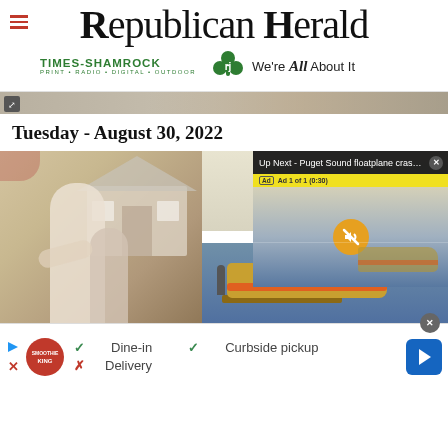Republican Herald — Times-Shamrock Print · Radio · Digital · Outdoor — We're All About It
[Figure (screenshot): Partial photo strip showing outdoor scene with people]
Tuesday - August 30, 2022
[Figure (photo): Left: two people (woman and child) standing outside a house. Right: Coast Guard or rescue boat at a dock on the water, with a video overlay showing 'Up Next - Puget Sound floatplane crash...' with ad counter 'Ad 1 of 1 (0:30)' and mute button]
[Figure (other): Advertisement strip for Smoothie King showing Dine-in (check), Curbside pickup (check), Delivery (X), with navigation arrow icon]